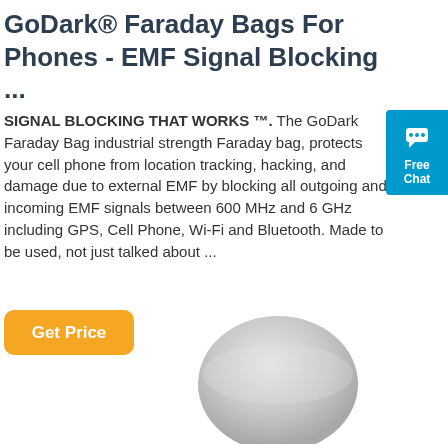GoDark® Faraday Bags For Phones - EMF Signal Blocking ...
SIGNAL BLOCKING THAT WORKS ™. The GoDark Faraday Bag industrial strength Faraday bag, protects your cell phone from location tracking, hacking, and damage due to external EMF by blocking all outgoing and incoming EMF signals between 600 MHz and 6 GHz including GPS, Cell Phone, Wi-Fi and Bluetooth. Made to be used, not just talked about ...
[Figure (screenshot): Blue Free Chat widget with speech bubble icon]
[Figure (photo): Round light gray disc/puck product photo, partially cropped at bottom of page]
Get Price